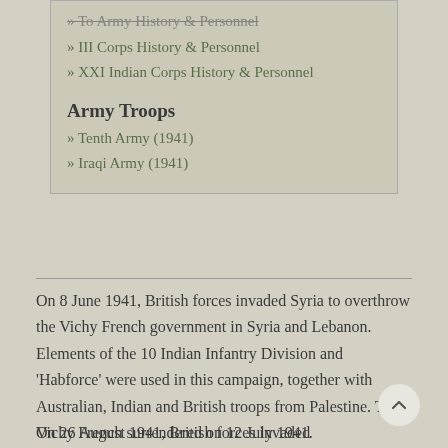» To Army History & Personnel
» III Corps History & Personnel
» XXI Indian Corps History & Personnel
Army Troops
» Tenth Army (1941)
» Iraqi Army (1941)
On 8 June 1941, British forces invaded Syria to overthrow the Vichy French government in Syria and Lebanon. Elements of the 10 Indian Infantry Division and 'Habforce' were used in this campaign, together with Australian, Indian and British troops from Palestine. The Vichy French surrendered on 12 July 1941.
On 26 August 1941, British forces invaded...